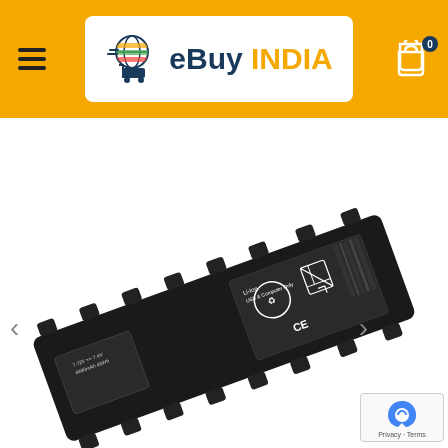[Figure (logo): eBuy INDIA e-commerce website header with orange background, hamburger menu on left, eBuy INDIA logo in center white box with shopping cart graphic, and shopping bag icon with 0 badge on right]
[Figure (screenshot): Search bar with rounded input field showing 'Search' placeholder text and orange search button with magnifying glass icon]
[Figure (photo): Product photo of a black laptop battery (Lenovo Li-Ion battery) shown at an angle with certification labels and barcodes visible, with left and right navigation arrows and Google reCAPTCHA badge in bottom right corner]